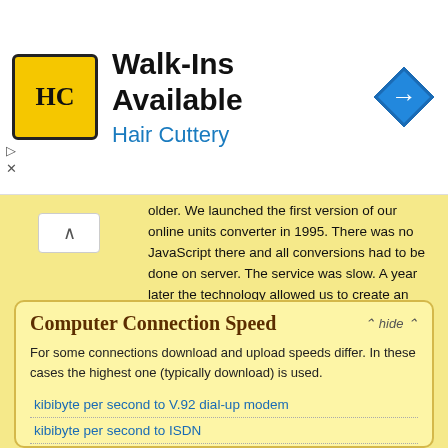[Figure (other): Hair Cuttery advertisement banner with logo, text 'Walk-Ins Available / Hair Cuttery', and navigation icon]
older. We launched the first version of our online units converter in 1995. There was no JavaScript there and all conversions had to be done on server. The service was slow. A year later the technology allowed us to create an instant units conversion service that became the prototype of what you see now.
Computer Connection Speed
For some connections download and upload speeds differ. In these cases the highest one (typically download) is used.
kibibyte per second to V.92 dial-up modem
kibibyte per second to ISDN
kibibyte per second to GPRS
kibibyte per second to CMDA 1x
kibibyte per second to EDGE
kibibyte per second to BlueTooth 1